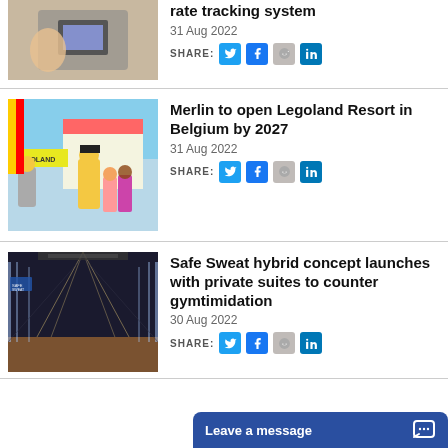[Figure (photo): Person using tablet/payment terminal, partially visible at top of page]
rate tracking system
31 Aug 2022
SHARE:
[Figure (photo): Legoland resort with Lego characters and children posing]
Merlin to open Legoland Resort in Belgium by 2027
31 Aug 2022
SHARE:
[Figure (photo): Safe Sweat gym interior with private suites, long corridor with glass partitions]
Safe Sweat hybrid concept launches with private suites to counter gymtimidation
30 Aug 2022
SHARE:
Leave a message